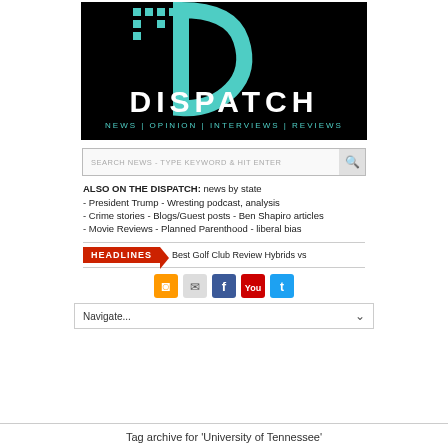[Figure (logo): Dispatch news website logo — black background with teal D-shaped graphic, white DISPATCH text, teal navigation links: NEWS | OPINION | INTERVIEWS | REVIEWS]
SEARCH NEWS - TYPE KEYWORD & HIT ENTER
ALSO ON THE DISPATCH: news by state
- President Trump - Wresting podcast, analysis
- Crime stories - Blogs/Guest posts - Ben Shapiro articles
- Movie Reviews - Planned Parenthood - liberal bias
HEADLINES  Best Golf Club Review Hybrids vs
[Figure (other): Row of social media icons: RSS (orange), Email (grey), Facebook (blue), YouTube (red), Twitter (blue)]
Navigate...
Tag archive for 'University of Tennessee'